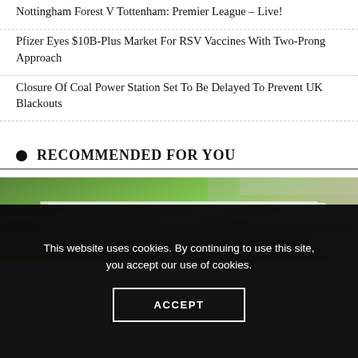Nottingham Forest V Tottenham: Premier League – Live!
Pfizer Eyes $10B-Plus Market For RSV Vaccines With Two-Prong Approach
Closure Of Coal Power Station Set To Be Delayed To Prevent UK Blackouts
RECOMMENDED FOR YOU
[Figure (photo): A photograph of a green football pitch with white line markings visible, taken at ground level.]
This website uses cookies. By continuing to use this site, you accept our use of cookies.
ACCEPT